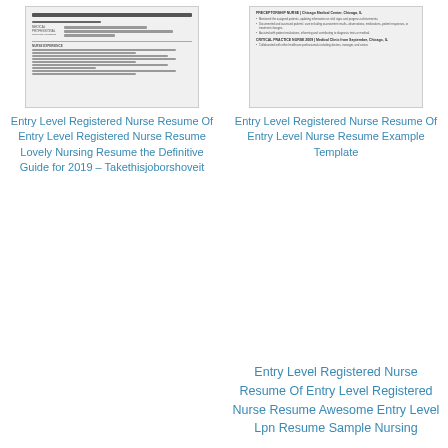[Figure (illustration): Thumbnail preview of a nurse resume document]
Entry Level Registered Nurse Resume Of Entry Level Registered Nurse Resume Lovely Nursing Resume the Definitive Guide for 2019 – Takethisjoborshoveit
[Figure (illustration): Thumbnail preview of a nurse resume document]
Entry Level Registered Nurse Resume Of Entry Level Nurse Resume Example Template
Entry Level Registered Nurse Resume Of Entry Level Registered Nurse Resume Awesome Entry Level Lpn Resume Sample Nursing